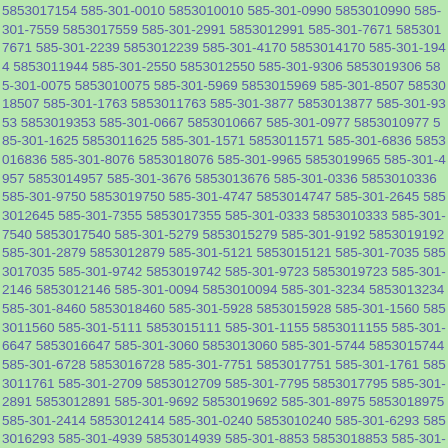5853017154 585-301-0010 5853010010 585-301-0990 5853010990 585-301-7559 5853017559 585-301-2991 5853012991 585-301-7671 5853017671 585-301-2239 5853012239 585-301-4170 5853014170 585-301-1944 5853011944 585-301-2550 5853012550 585-301-9306 5853019306 585-301-0075 5853010075 585-301-5969 5853015969 585-301-8507 5853018507 585-301-1763 5853011763 585-301-3877 5853013877 585-301-9353 5853019353 585-301-0667 5853010667 585-301-0977 5853010977 585-301-1625 5853011625 585-301-1571 5853011571 585-301-6836 5853016836 585-301-8076 5853018076 585-301-9965 5853019965 585-301-4957 5853014957 585-301-3676 5853013676 585-301-0336 5853010336 585-301-9750 5853019750 585-301-4747 5853014747 585-301-2645 5853012645 585-301-7355 5853017355 585-301-0333 5853010333 585-301-7540 5853017540 585-301-5279 5853015279 585-301-9192 5853019192 585-301-2879 5853012879 585-301-5121 5853015121 585-301-7035 5853017035 585-301-9742 5853019742 585-301-9723 5853019723 585-301-2146 5853012146 585-301-0094 5853010094 585-301-3234 5853013234 585-301-8460 5853018460 585-301-5928 5853015928 585-301-1560 5853011560 585-301-5111 5853015111 585-301-1155 5853011155 585-301-6647 5853016647 585-301-3060 5853013060 585-301-5744 5853015744 585-301-6728 5853016728 585-301-7751 5853017751 585-301-1761 5853011761 585-301-2709 5853012709 585-301-7795 5853017795 585-301-2891 5853012891 585-301-9692 5853019692 585-301-8975 5853018975 585-301-2414 5853012414 585-301-0240 5853010240 585-301-6293 5853016293 585-301-4939 5853014939 585-301-8853 5853018853 585-301-8887 5853018887